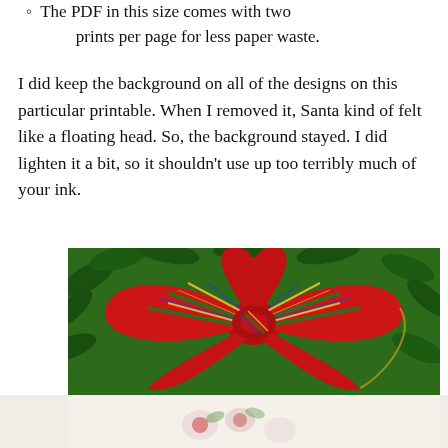The PDF in this size comes with two prints per page for less paper waste.
I did keep the background on all of the designs on this particular printable. When I removed it, Santa kind of felt like a floating head. So, the background stayed. I did lighten it a bit, so it shouldn't use up too terribly much of your ink.
[Figure (photo): Close-up photo of a large red tartan plaid Christmas bow with green, gold, yellow, and blue stripes, placed on a green boxwood wreath background. The bottom of the image shows a partially visible wrapped Christmas gift.]